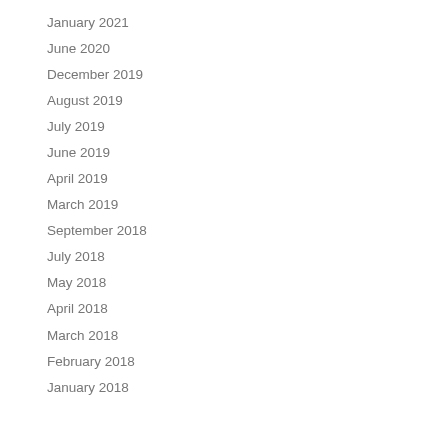January 2021
June 2020
December 2019
August 2019
July 2019
June 2019
April 2019
March 2019
September 2018
July 2018
May 2018
April 2018
March 2018
February 2018
January 2018